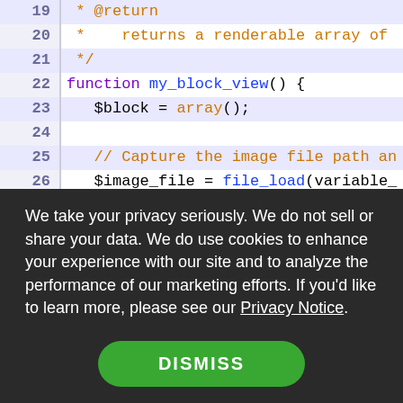[Figure (screenshot): Code editor screenshot showing PHP code lines 19-26 with syntax highlighting. Line numbers in purple on gray background. Code includes @return comment, function my_block_view(), $block = array();, a comment about capturing image file path, and $image_file = file_load(variable_. Blue and orange syntax highlighting.]
We take your privacy seriously. We do not sell or share your data. We do use cookies to enhance your experience with our site and to analyze the performance of our marketing efforts. If you'd like to learn more, please see our Privacy Notice.